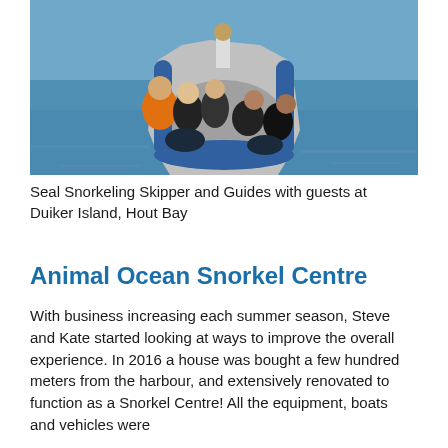[Figure (photo): Group of people in wetsuits on an inflatable boat on the ocean, some facing camera and smiling, others looking down at equipment. Blue ocean water visible around the boat.]
Seal Snorkeling Skipper and Guides with guests at Duiker Island, Hout Bay
Animal Ocean Snorkel Centre
With business increasing each summer season, Steve and Kate started looking at ways to improve the overall experience. In 2016 a house was bought a few hundred meters from the harbour, and extensively renovated to function as a Snorkel Centre! All the equipment, boats and vehicles were